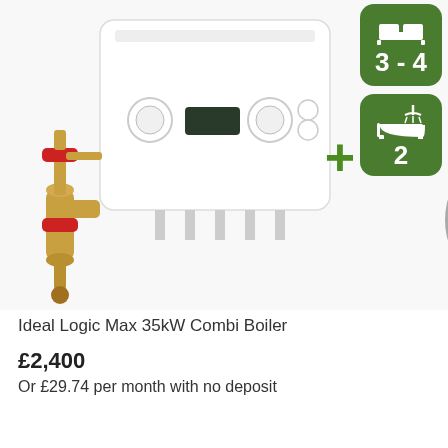[Figure (photo): Product photo of Ideal Logic Max 35kW Combi Boiler with brass filter/valves and a round thermostat controller. Two green rounded-rectangle icons on the right: one showing '3 - 4' with a house/radiator symbol, one showing '2' with a shower and bathtub symbol.]
Ideal Logic Max 35kW Combi Boiler
£2,400
Or £29.74 per month with no deposit